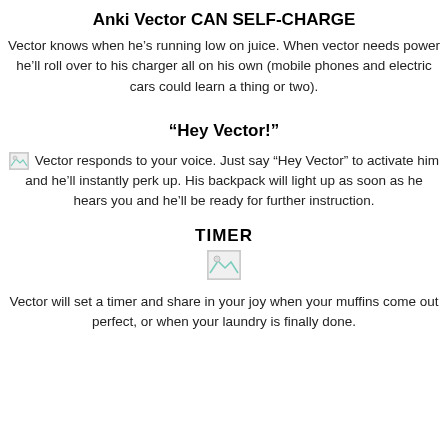Anki Vector CAN SELF-CHARGE
Vector knows when he’s running low on juice. When vector needs power he’ll roll over to his charger all on his own (mobile phones and electric cars could learn a thing or two).
“Hey Vector!”
Vector responds to your voice. Just say “Hey Vector” to activate him and he’ll instantly perk up. His backpack will light up as soon as he hears you and he’ll be ready for further instruction.
TIMER
[Figure (photo): Broken/missing image placeholder for a timer-related image]
Vector will set a timer and share in your joy when your muffins come out perfect, or when your laundry is finally done.